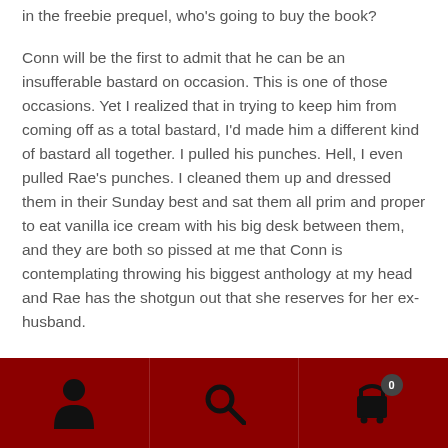in the freebie prequel, who's going to buy the book?
Conn will be the first to admit that he can be an insufferable bastard on occasion. This is one of those occasions. Yet I realized that in trying to keep him from coming off as a total bastard, I'd made him a different kind of bastard all together. I pulled his punches. Hell, I even pulled Rae's punches. I cleaned them up and dressed them in their Sunday best and sat them all prim and proper to eat vanilla ice cream with his big desk between them, and they are both so pissed at me that Conn is contemplating throwing his biggest anthology at my head and Rae has the shotgun out that she reserves for her ex-husband.
Self-editing at its worst.